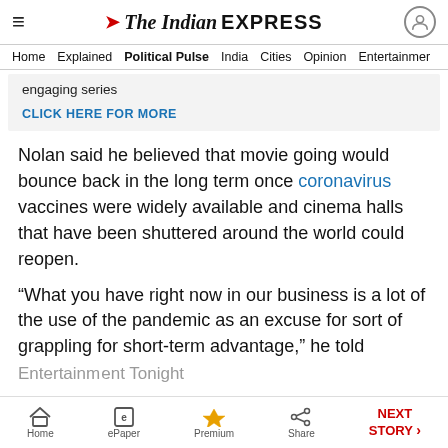The Indian EXPRESS
Home  Explained  Political Pulse  India  Cities  Opinion  Entertainment
engaging series
CLICK HERE FOR MORE
Nolan said he believed that movie going would bounce back in the long term once coronavirus vaccines were widely available and cinema halls that have been shuttered around the world could reopen.
“What you have right now in our business is a lot of the use of the pandemic as an excuse for sort of grappling for short-term advantage,” he told Entertainment Tonight
Home  ePaper  Premium  Share  NEXT STORY